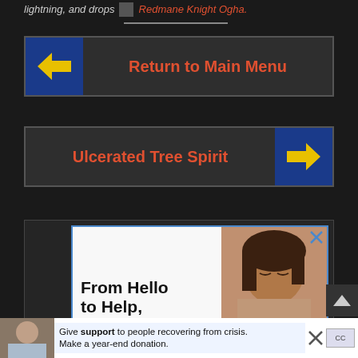lightning, and drops  Redmane Knight Ogha.
Return to Main Menu
Ulcerated Tree Spirit
[Figure (screenshot): Advertisement: From Hello to Help, 211 is Here — with photo of child]
[Figure (screenshot): Bottom banner ad: Give support to people recovering from crisis. Make a year-end donation.]